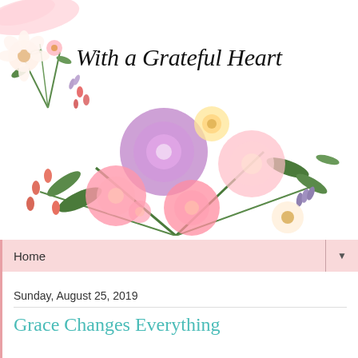[Figure (illustration): Blog header with watercolor floral decorations and script text reading 'With a Grateful Heart'. Small floral bouquet in top-left corner with pink and white flowers, green leaves, and lavender sprigs. Large watercolor floral arrangement in center-bottom of header with purple, pink, peach, and yellow flowers with green foliage.]
Home ▼
Sunday, August 25, 2019
Grace Changes Everything